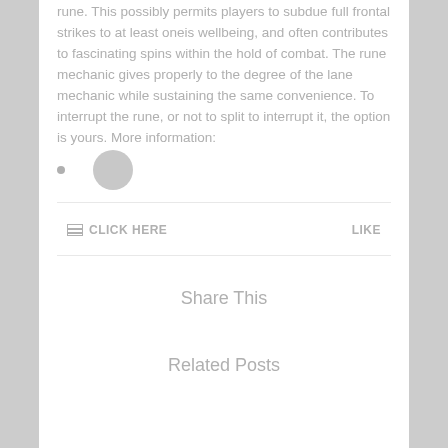rune. This possibly permits players to subdue full frontal strikes to at least oneis wellbeing, and often contributes to fascinating spins within the hold of combat. The rune mechanic gives properly to the degree of the lane mechanic while sustaining the same convenience. To interrupt the rune, or not to split to interrupt it, the option is yours. More information:
•
CLICK HERE
LIKE
Share This
Related Posts